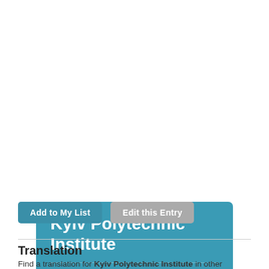Kyiv Polytechnic Institute
Governmental » Institutes
Add to My List
Edit this Entry
Translation
Find a translation for Kyiv Polytechnic Institute in other languages:
Select another...